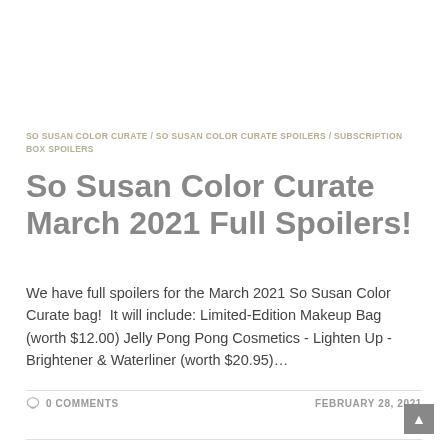SO SUSAN COLOR CURATE / SO SUSAN COLOR CURATE SPOILERS / SUBSCRIPTION BOX SPOILERS
So Susan Color Curate March 2021 Full Spoilers!
We have full spoilers for the March 2021 So Susan Color Curate bag!  It will include: Limited-Edition Makeup Bag (worth $12.00) Jelly Pong Pong Cosmetics - Lighten Up - Brightener & Waterliner (worth $20.95)…
0 COMMENTS   FEBRUARY 28, 2021